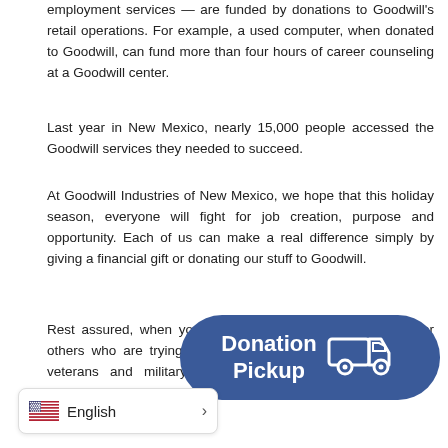employment services — are funded by donations to Goodwill's retail operations. For example, a used computer, when donated to Goodwill, can fund more than four hours of career counseling at a Goodwill center.
Last year in New Mexico, nearly 15,000 people accessed the Goodwill services they needed to succeed.
At Goodwill Industries of New Mexico, we hope that this holiday season, everyone will fight for job creation, purpose and opportunity. Each of us can make a real difference simply by giving a financial gift or donating our stuff to Goodwill.
Rest assured, when you do that, you create opportunities for others who are trying to find a job and build skills, including veterans and military families, single mothers, and other individuals, including people like Zachary.
[Figure (illustration): Blue rounded rectangle button with white text reading 'Donation Pickup' and a white delivery truck icon on the right.]
[Figure (other): Language selector UI element showing a US flag icon, the text 'English', and a right-pointing chevron arrow, in a white rounded rectangle with border.]